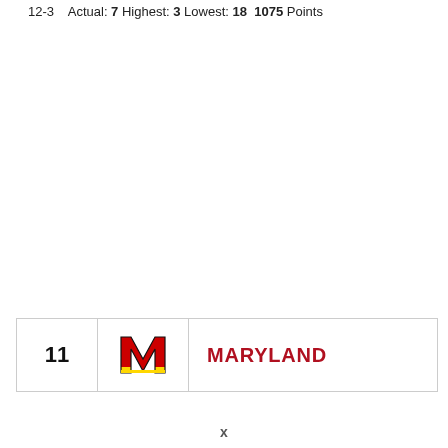12-3   Actual: 7 Highest: 3 Lowest: 18  1075 Points
11  Maryland
x